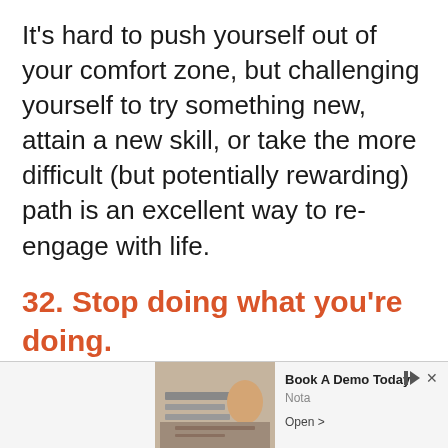It's hard to push yourself out of your comfort zone, but challenging yourself to try something new, attain a new skill, or take the more difficult (but potentially rewarding) path is an excellent way to re-engage with life.
32. Stop doing what you're doing.
If you are trying to figure out what you should do with your life, then it's pretty clear that whatever you are doing now isn't working.
[Figure (other): Advertisement banner at bottom of page showing 'Book A Demo Today' for Nota app, with an image of a person writing at a desk, Ad label, close button, and Open button.]